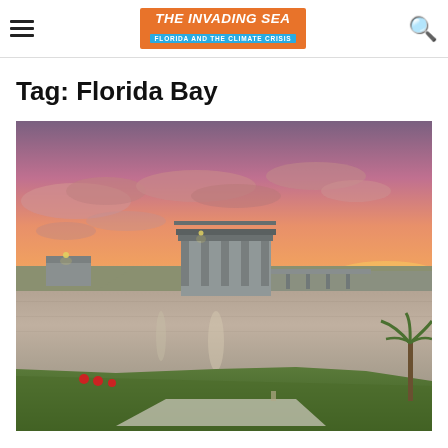THE INVADING SEA — FLORIDA AND THE CLIMATE CRISIS
Tag: Florida Bay
[Figure (photo): Sunset or sunrise photograph showing a water control structure/dam with concrete gates and pillars, reflected in calm water. Grassy embankment in foreground, palm tree at right, dramatic pink and orange sky with scattered clouds in background.]